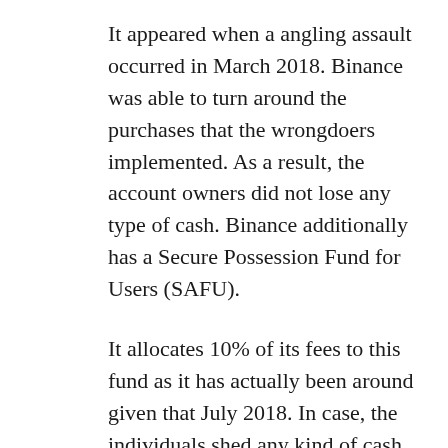It appeared when a angling assault occurred in March 2018. Binance was able to turn around the purchases that the wrongdoers implemented. As a result, the account owners did not lose any type of cash. Binance additionally has a Secure Possession Fund for Users (SAFU).
It allocates 10% of its fees to this fund as it has actually been around given that July 2018. In case, the individuals shed any kind of cash due to hacking or angling efforts, Binance can compensate them for their losses. This fund was utilized in a considerable hack that happened in May 2019. The cryptocurrency exchange had kept $ 40 million worth of Bitcoin is utilizing this fund. That is why you can be